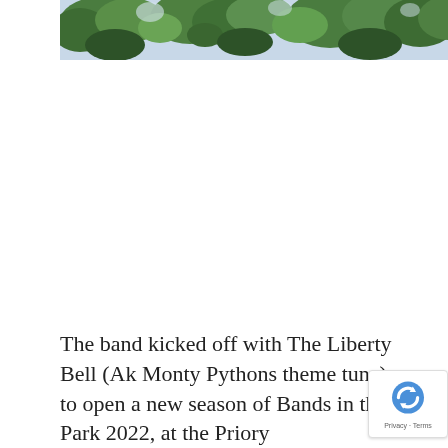[Figure (photo): A wide banner photograph of trees with green foliage against a pale sky, cropped to show just the treetops.]
The band kicked off with The Liberty Bell (Ak Monty Pythons theme tune) to open a new season of Bands in the Park 2022, at the Priory